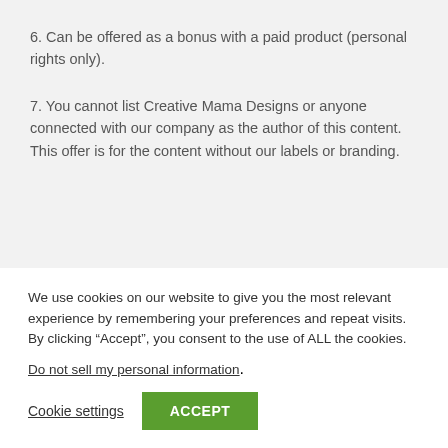6. Can be offered as a bonus with a paid product (personal rights only).
7. You cannot list Creative Mama Designs or anyone connected with our company as the author of this content.  This offer is for the content without our labels or branding.
We use cookies on our website to give you the most relevant experience by remembering your preferences and repeat visits. By clicking “Accept”, you consent to the use of ALL the cookies.
Do not sell my personal information.
Cookie settings  ACCEPT